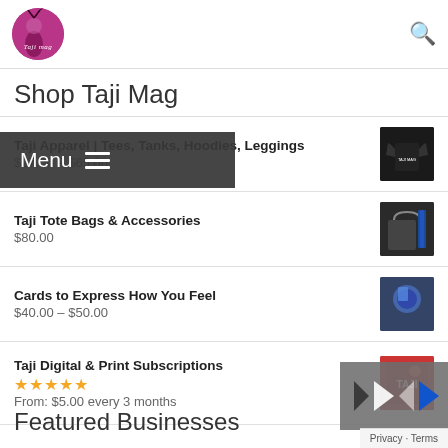Shop Taji Mag
Shop Taji Mag
Taji Apparel | Tees, Tanks, Hoodies, Leggings
$27.00 – $65.00
Taji Tote Bags & Accessories
$80.00
Cards to Express How You Feel
$40.00 – $50.00
Taji Digital & Print Subscriptions
From: $5.00 every 3 months
Notebooks
$32.00
Featured Businesses